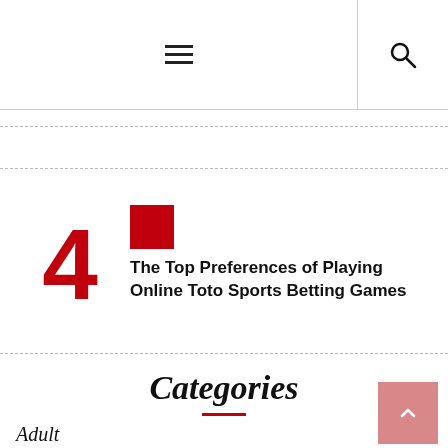☰ 🔍
4
The Top Preferences of Playing Online Toto Sports Betting Games
Categories
Adult